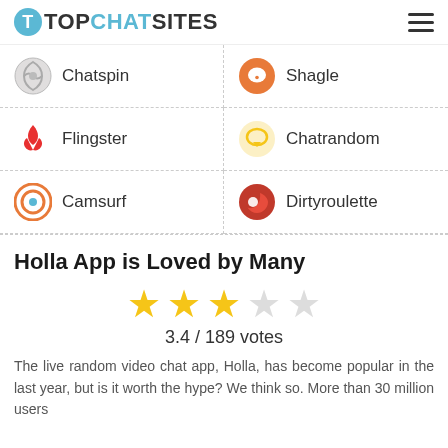TOPCHATSITES
Chatspin
Shagle
Flingster
Chatrandom
Camsurf
Dirtyroulette
Holla App is Loved by Many
3.4 / 189 votes
The live random video chat app, Holla, has become popular in the last year, but is it worth the hype? We think so. More than 30 million users